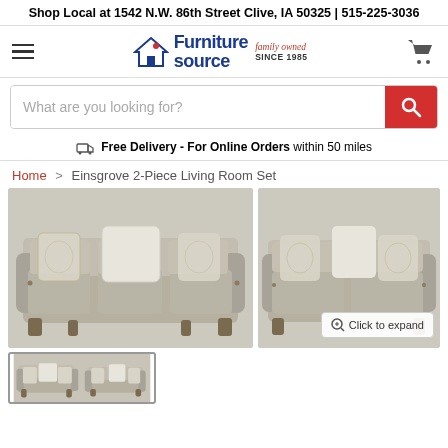Shop Local at 1542 N.W. 86th Street Clive, IA 50325 | 515-225-3036
[Figure (logo): Furniture Source logo with 'family owned SINCE 1985' tagline and shopping cart icon]
What are you looking for?
Free Delivery - For Online Orders within 50 miles
Home > Einsgrove 2-Piece Living Room Set
[Figure (photo): Einsgrove 2-Piece Living Room Set showing a large sofa and loveseat in taupe/gray fabric with decorative pillows and rolled arms with nailhead trim]
[Figure (photo): Thumbnail image of the Einsgrove 2-Piece Living Room Set]